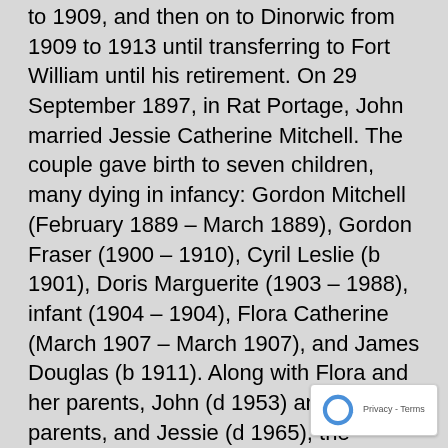to 1909, and then on to Dinorwic from 1909 to 1913 until transferring to Fort William until his retirement. On 29 September 1897, in Rat Portage, John married Jessie Catherine Mitchell. The couple gave birth to seven children, many dying in infancy: Gordon Mitchell (February 1889 – March 1889), Gordon Fraser (1900 – 1910), Cyril Leslie (b 1901), Doris Marguerite (1903 – 1988), infant (1904 – 1904), Flora Catherine (March 1907 – March 1907), and James Douglas (b 1911). Along with Flora and her parents, John (d 1953) and his parents, and Jessie (d 1965), the children that died young are interred in the Lake of the Woods Cemetery in Kenora. By the time of the 1901 census, Duncan was living with his uncle and aunt, James and Nancy MacKenzie, in Rat Portage, while his father and Jessie were living in Savanne. Duncan's later obituary noted that he was a star goal tender for the Rat Portage (Kenora) hockey clubs.
Duncan signed his attestation papers with the 78th Battery, Canadian Field Artillery on 8 November 1917 in
[Figure (logo): reCAPTCHA badge with rotating arrows icon and 'Privacy - Terms' text]